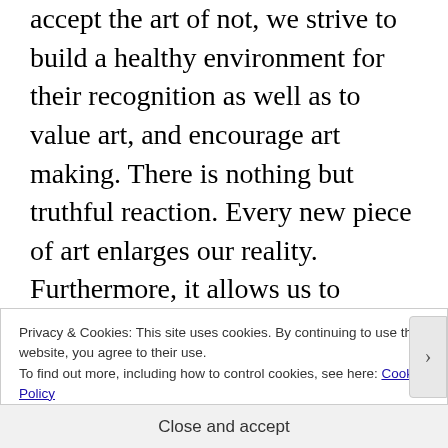accept the art of not, we strive to build a healthy environment for their recognition as well as to value art, and encourage art making. There is nothing but truthful reaction. Every new piece of art enlarges our reality. Furthermore, it allows us to explore the essential role in how we understand our humanity when we appreciate on the artworks within their own contexts. We suggest that you imagine the moments that secretly and
Privacy & Cookies: This site uses cookies. By continuing to use this website, you agree to their use. To find out more, including how to control cookies, see here: Cookie Policy
Close and accept